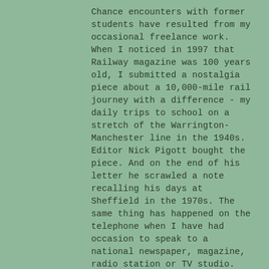Chance encounters with former students have resulted from my occasional freelance work. When I noticed in 1997 that Railway magazine was 100 years old, I submitted a nostalgia piece about a 10,000-mile rail journey with a difference - my daily trips to school on a stretch of the Warrington-Manchester line in the 1940s.  Editor Nick Pigott bought the piece. And on the end of his letter he scrawled a note recalling his days at Sheffield in the 1970s. The same thing has happened on the telephone when I have had occasion to speak to a national newspaper, magazine, radio station or TV studio. 'Are you the same Gerry Kreibich who . . . ?'
Such recognition is largely the result, of course, of having an unusual name. Our son Simon, a detective-sergeant